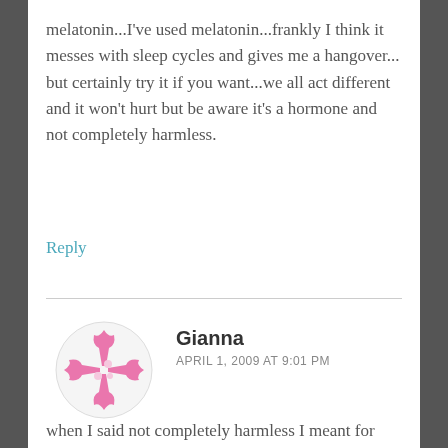melatonin...I've used melatonin...frankly I think it messes with sleep cycles and gives me a hangover...
but certainly try it if you want...we all act different and it won't hurt but be aware it's a hormone and not completely harmless.
Reply
Gianna
APRIL 1, 2009 AT 9:01 PM
when I said not completely harmless I meant for long term use...I don't think it would hurt to give it a brief shot...